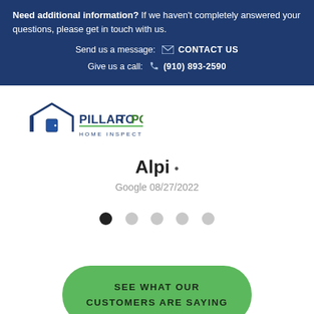Need additional information? If we haven't completely answered your questions, please get in touch with us.
Send us a message: CONTACT US
Give us a call: (910) 893-2590
[Figure (logo): Pillar To Post Home Inspectors logo with house outline and door icon]
Alpi
Google 08/27/2022
[Figure (other): Carousel navigation dots: one black filled, four grey]
SEE WHAT OUR CUSTOMERS ARE SAYING